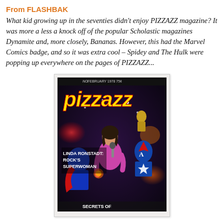From FLASHBAK
What kid growing up in the seventies didn't enjoy PIZZAZZ magazine? It was more a less a knock off of the popular Scholastic magazines Dynamite and, more closely, Bananas. However, this had the Marvel Comics badge, and so it was extra cool – Spidey and The Hulk were popping up everywhere on the pages of PIZZAZZ...
[Figure (photo): Cover of PIZZAZZ magazine, February 1978, showing Linda Ronstadt as 'Rock's Superwoman' surrounded by Marvel Comics characters including Captain America, with the text 'LINDA RONSTADT: ROCK'S SUPERWOMAN' and 'SECRETS OF' at the bottom. The iconic yellow Pizzazz logo is at the top.]